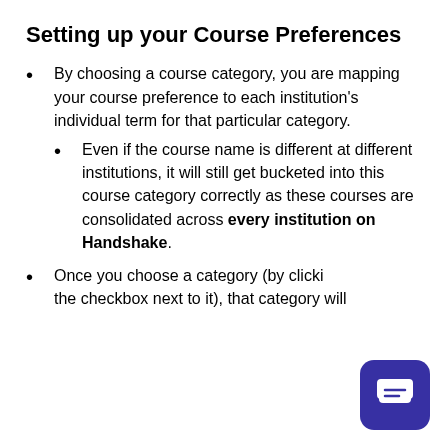Setting up your Course Preferences
By choosing a course category, you are mapping your course preference to each institution's individual term for that particular category.
Even if the course name is different at different institutions, it will still get bucketed into this course category correctly as these courses are consolidated across every institution on Handshake.
Once you choose a category (by clicking the checkbox next to it), that category will